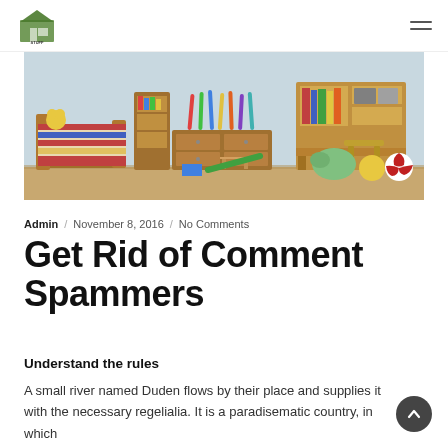Stuff Centre [logo] / navigation menu
[Figure (photo): Children's room furniture scene with wooden bed, dresser, bookshelf, desk and scattered toys on a light blue background.]
Admin / November 8, 2016 / No Comments
Get Rid of Comment Spammers
Understand the rules
A small river named Duden flows by their place and supplies it with the necessary regelialia. It is a paradisematic country, in which